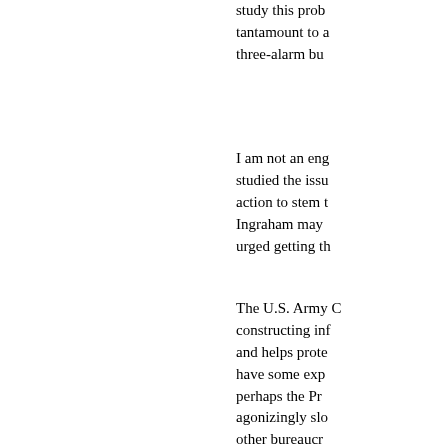study this prob... tantamount to a... three-alarm bu...
I am not an eng... studied the issu... action to stem t... Ingraham may ... urged getting th...
The U.S. Army C... constructing inf... and helps prote... have some exp... perhaps the Pr... agonizingly slo... other bureaucr...
The U.S. Navy n... here. Maybe o... seems to me th... about as bad a... tower elitists wi...
Make no mistak...